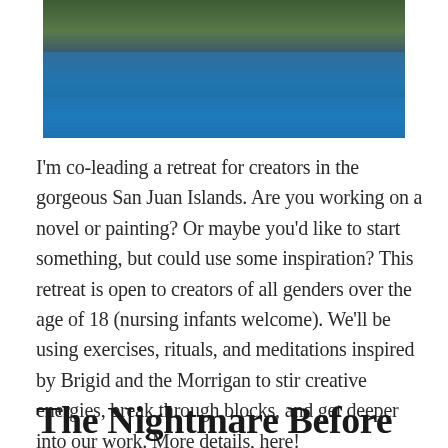[Figure (photo): Aerial or waterfront photograph of the San Juan Islands showing blue ocean water with forested rocky islands in the background under natural daylight.]
I'm co-leading a retreat for creators in the gorgeous San Juan Islands. Are you working on a novel or painting? Or maybe you'd like to start something, but could use some inspiration? This retreat is open to creators of all genders over the age of 18 (nursing infants welcome). We'll be using exercises, rituals, and meditations inspired by Brigid and the Morrigan to stir creative energies, break through blocks, and get deeper into our work. More details, here!
The Nightmare Before